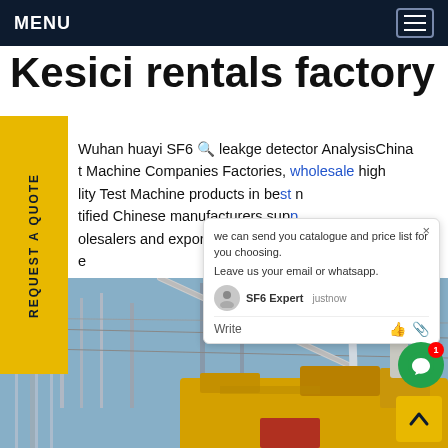MENU
Kesici rentals factory
Wuhan huayi SF6 🔍 leakge detector AnalysisChina t Machine Companies Factories, wholesale high lity Test Machine products in best tified Chinese manufacturers sup... olesalers and exporters on Topcl... G ce
[Figure (photo): Industrial electrical substation with SF6 equipment, yellow machine in foreground, power lines and towers in background against blue sky.]